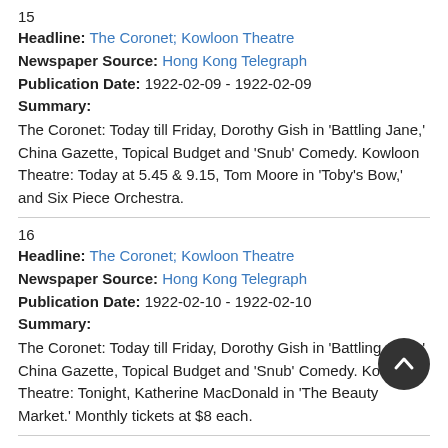15
Headline: The Coronet; Kowloon Theatre
Newspaper Source: Hong Kong Telegraph
Publication Date: 1922-02-09 - 1922-02-09
Summary:
The Coronet: Today till Friday, Dorothy Gish in 'Battling Jane,' China Gazette, Topical Budget and 'Snub' Comedy. Kowloon Theatre: Today at 5.45 & 9.15, Tom Moore in 'Toby's Bow,' and Six Piece Orchestra.
16
Headline: The Coronet; Kowloon Theatre
Newspaper Source: Hong Kong Telegraph
Publication Date: 1922-02-10 - 1922-02-10
Summary:
The Coronet: Today till Friday, Dorothy Gish in 'Battling Jane,' China Gazette, Topical Budget and 'Snub' Comedy. Kowloon Theatre: Tonight, Katherine MacDonald in 'The Beauty Market.' Monthly tickets at $8 each.
17